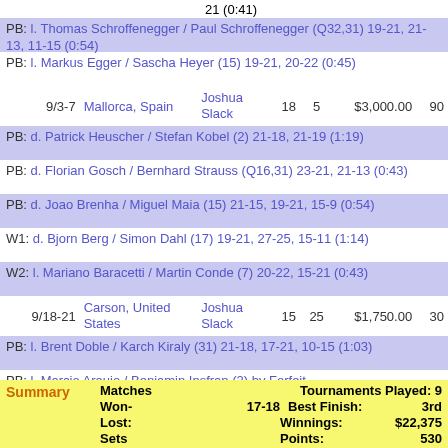| Date | Location | Partner | Fin | Win | Winnings | Pts |
| --- | --- | --- | --- | --- | --- | --- |
|  |  | 21 (0:41) |  |  |  |  |
| PB: | l. Thomas Schroffenegger / Paul Schroffenegger (Q32,31) 19-21, 21-13, 11-15 (0:54) |  |  |  |  |  |
| PB: | l. Markus Egger / Sascha Heyer (15) 19-21, 20-22 (0:45) |  |  |  |  |  |
| 9/3-7 | Mallorca, Spain | Joshua Slack | 18 | 5 | $3,000.00 | 90 |
| PB: | d. Patrick Heuscher / Stefan Kobel (2) 21-18, 21-19 (1:19) |  |  |  |  |  |
| PB: | d. Florian Gosch / Bernhard Strauss (Q16,31) 23-21, 21-13 (0:43) |  |  |  |  |  |
| PB: | d. Joao Brenha / Miguel Maia (15) 21-15, 19-21, 15-9 (0:54) |  |  |  |  |  |
| W1: | d. Bjorn Berg / Simon Dahl (17) 19-21, 27-25, 15-11 (1:14) |  |  |  |  |  |
| W2: | l. Mariano Baracetti / Martin Conde (7) 20-22, 15-21 (0:43) |  |  |  |  |  |
| 9/18-21 | Carson, United States | Joshua Slack | 15 | 25 | $1,750.00 | 30 |
| PB: | l. Brent Doble / Karch Kiraly (31) 21-18, 17-21, 10-15 (1:03) |  |  |  |  |  |
| PB: | l. Marcio Araujo / Benjamin Insfran (2) by Forfeit |  |  |  |  |  |
| PB: | l. Eric Fonoimoana / Kevin Wong (18) by Forfeit |  |  |  |  |  |
| Summary | Matches Won-Lost | Tournaments Played | Best Finish | Winnings | Points |
| --- | --- | --- | --- | --- | --- |
| Summary | Matches | Tournaments Played: | 9 |
|  | Won-Lost: 17-18 | Best Finish: | 3rd |
|  |  | Winnings: | $22,375 |
|  | Sets | Points: | 530 |